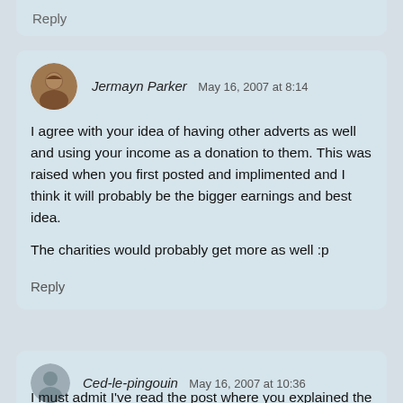Reply
Jermayn Parker  May 16, 2007 at 8:14

I agree with your idea of having other adverts as well and using your income as a donation to them. This was raised when you first posted and implimented and I think it will probably be the bigger earnings and best idea.

The charities would probably get more as well :p

Reply
Ced-le-pingouin  May 16, 2007 at 10:36

I must admit I've read the post where you explained the charity thing, but... it is as if I'd already forgotten